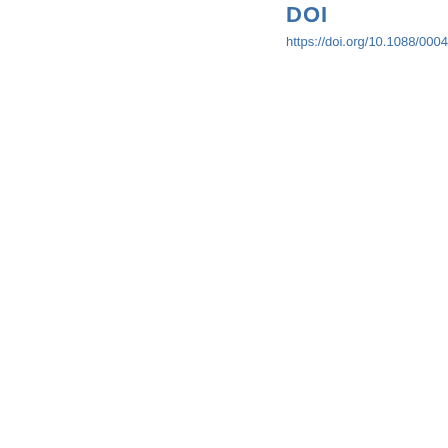DOI
https://doi.org/10.1088/0004-